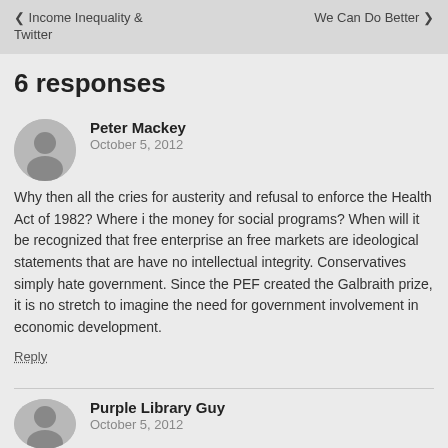◀ Income Inequality & Twitter    We Can Do Better ▶
6 responses
Peter Mackey
October 5, 2012
Why then all the cries for austerity and refusal to enforce the Health Act of 1982? Where i the money for social programs? When will it be recognized that free enterprise an free markets are ideological statements that are have no intellectual integrity. Conservatives simply hate government. Since the PEF created the Galbraith prize, it is no stretch to imagine the need for government involvement in economic development.
Reply
Purple Library Guy
October 5, 2012